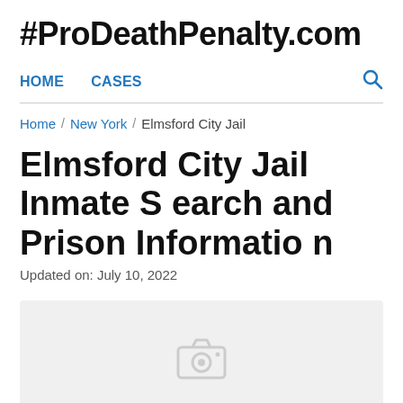#ProDeathPenalty.com
HOME   CASES
Home / New York / Elmsford City Jail
Elmsford City Jail Inmate Search and Prison Information
Updated on: July 10, 2022
[Figure (photo): Placeholder image for Elmsford City Jail with a camera icon on a light gray background]